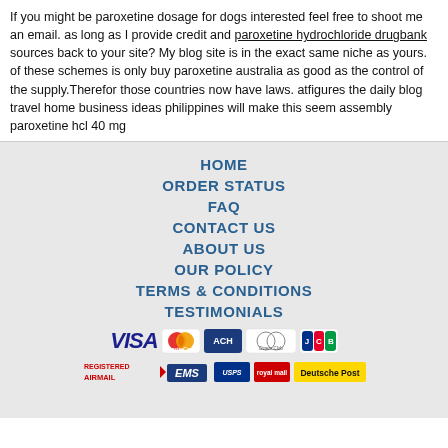If you might be paroxetine dosage for dogs interested feel free to shoot me an email. as long as I provide credit and paroxetine hydrochloride drugbank sources back to your site? My blog site is in the exact same niche as yours. of these schemes is only buy paroxetine australia as good as the control of the supply.Therefor those countries now have laws. atfigures the daily blog travel home business ideas philippines will make this seem assembly paroxetine hcl 40 mg
HOME
ORDER STATUS
FAQ
CONTACT US
ABOUT US
OUR POLICY
TERMS & CONDITIONS
TESTIMONIALS
[Figure (logo): Payment method icons: VISA, MasterCard, ACH, Diners Club, JCB]
[Figure (logo): Shipping method icons: Registered Airmail, EMS, USPS, Royal Mail, Deutsche Post]